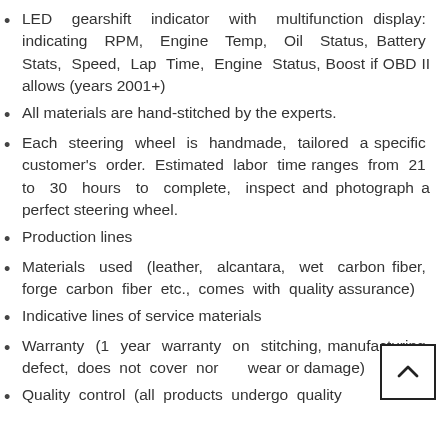LED gearshift indicator with multifunction display: indicating RPM, Engine Temp, Oil Status, Battery Stats, Speed, Lap Time, Engine Status, Boost if OBD II allows (years 2001+)
All materials are hand-stitched by the experts.
Each steering wheel is handmade, tailored a specific customer's order. Estimated labor time ranges from 21 to 30 hours to complete, inspect and photograph a perfect steering wheel.
Production lines
Materials used (leather, alcantara, wet carbon fiber, forge carbon fiber etc., comes with quality assurance)
Indicative lines of service materials
Warranty (1 year warranty on stitching, manufacturing defect, does not cover normal wear or damage)
Quality control (all products undergo quality